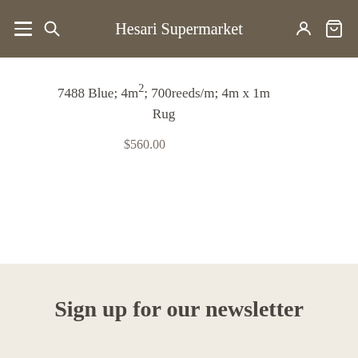Hesari Supermarket
7488 Blue; 4m²; 700reeds/m; 4m x 1m Rug
$560.00
Sign up for our newsletter